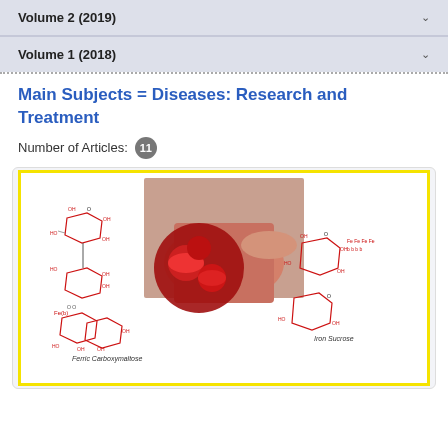Volume 2 (2019)
Volume 1 (2018)
Main Subjects = Diseases: Research and Treatment
Number of Articles: 11
[Figure (illustration): A composite illustration showing: a pregnant woman in a red/pink dress holding her belly, red blood cells, and chemical structure diagrams labeled 'Iron Sucrose' and 'Ferric Carboxymaltose', all inside a yellow-bordered frame.]